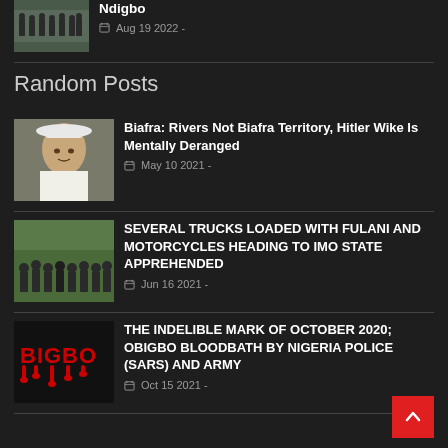[Figure (photo): Partial military/soldiers photo thumbnail at top]
Ndigbo
Aug 19 2022 -
Random Posts
[Figure (photo): Photo of a man wearing a white hat, possibly a politician]
Biafra: Rivers Not Biafra Territory, Hitler Wike Is Mentally Deranged
May 10 2021 -
[Figure (photo): Photo of a crowd of people, possibly Fulani]
SEVERAL TRUCKS LOADED WITH FULANI AND MOTORCYCLES HEADING TO IMO STATE APPREHENDED
Jun 16 2021 -
[Figure (photo): BIGBO text graphic with red dripping paint]
THE INDELIBLE MARK OF OCTOBER 2020; OBIGBO BLOODBATH BY NIGERIA POLICE (SARS) AND ARMY
Oct 15 2021 -